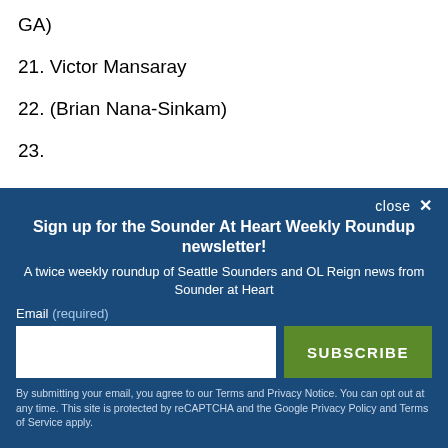GA)
21. Victor Mansaray
22. (Brian Nana-Sinkam)
23.
close ✕
Sign up for the Sounder At Heart Weekly Roundup newsletter!
A twice weekly roundup of Seattle Sounders and OL Reign news from Sounder at Heart
Email (required)
SUBSCRIBE
By submitting your email, you agree to our Terms and Privacy Notice. You can opt out at any time. This site is protected by reCAPTCHA and the Google Privacy Policy and Terms of Service apply.